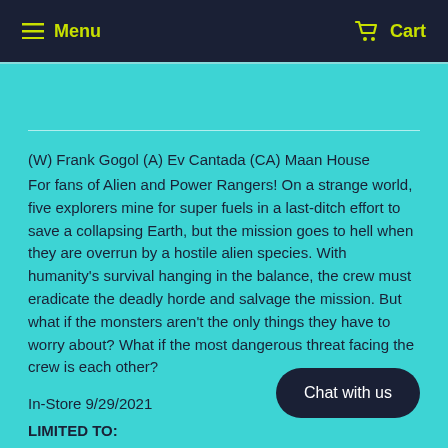Menu  Cart
(W) Frank Gogol (A) Ev Cantada (CA) Maan House
For fans of Alien and Power Rangers! On a strange world, five explorers mine for super fuels in a last-ditch effort to save a collapsing Earth, but the mission goes to hell when they are overrun by a hostile alien species. With humanity's survival hanging in the balance, the crew must eradicate the deadly horde and salvage the mission. But what if the monsters aren't the only things they have to worry about? What if the most dangerous threat facing the crew is each other?
In-Store 9/29/2021
LIMITED TO:
250 Trade Dress